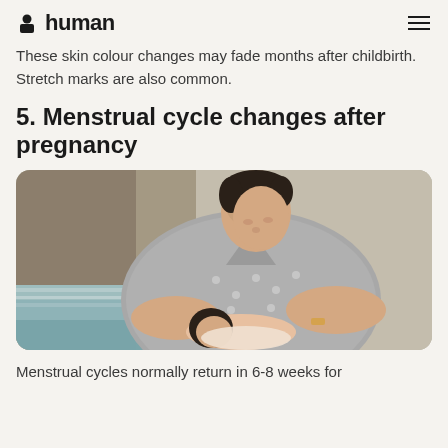human
These skin colour changes may fade months after childbirth. Stretch marks are also common.
5. Menstrual cycle changes after pregnancy
[Figure (photo): A woman in a grey polka-dot shirt breastfeeding a newborn baby, looking down at the infant with a gentle expression. Background is blurred indoors.]
Menstrual cycles normally return in 6-8 weeks for